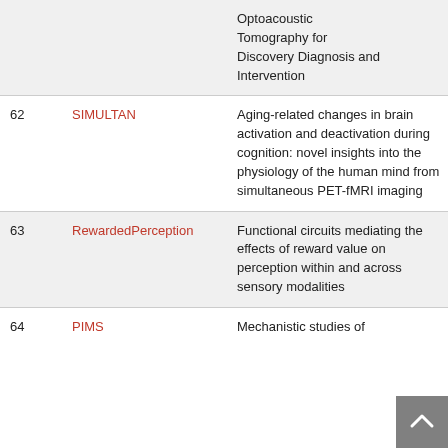| # | Acronym | Description |
| --- | --- | --- |
|  |  | Optoacoustic Tomography for Discovery Diagnosis and Intervention |
| 62 | SIMULTAN | Aging-related changes in brain activation and deactivation during cognition: novel insights into the physiology of the human mind from simultaneous PET-fMRI imaging |
| 63 | RewardedPerception | Functional circuits mediating the effects of reward value on perception within and across sensory modalities |
| 64 | PIMS | Mechanistic studies of ... |